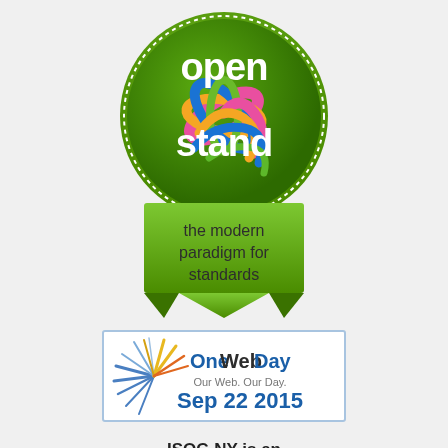[Figure (logo): Open Stand logo — green circular badge with colorful globe icon, text 'open stand' in white, below a green ribbon banner with text 'the modern paradigm for standards' in dark color]
[Figure (logo): OneWebDay banner — light blue bordered rectangle with starburst graphic in blue/yellow/orange, text 'OneWebDay' with 'One' in blue, 'Web' in dark, 'Day' in blue, 'Our Web. Our Day.' in gray, 'Sep 22 2015' in blue]
ISOC-NY is an
[Figure (illustration): Partial flame/torch graphic at bottom, appears to be part of a larger logo cut off at the page edge]